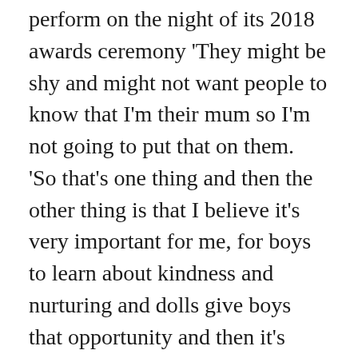perform on the night of its 2018 awards ceremony 'They might be shy and might not want people to know that I'm their mum so I'm not going to put that on them.  'So that's one thing and then the other thing is that I believe it's very important for me, for boys to learn about kindness and nurturing and dolls give boys that opportunity and then it's very important for girls to believe they can achieve anything, and be scientists, mathematicians, firefighters, whatever. 'The confusion is that I used a word that means different things to different people.' Paloma is adamant she doesn't care what her child grows up to be as long as they are a happy person who is able to contribute something positive to society. The confusion is that...